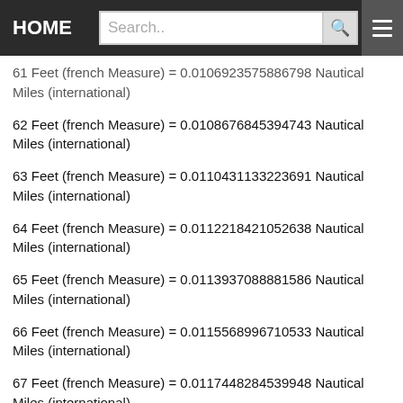HOME | Search..
61 Feet (french Measure) = 0.0106923575886798 Nautical Miles (international)
62 Feet (french Measure) = 0.0108676845394743 Nautical Miles (international)
63 Feet (french Measure) = 0.0110431133223691 Nautical Miles (international)
64 Feet (french Measure) = 0.0112218421052638 Nautical Miles (international)
65 Feet (french Measure) = 0.0113937088881586 Nautical Miles (international)
66 Feet (french Measure) = 0.0115568996710533 Nautical Miles (international)
67 Feet (french Measure) = 0.0117448284539948 Nautical Miles (international)